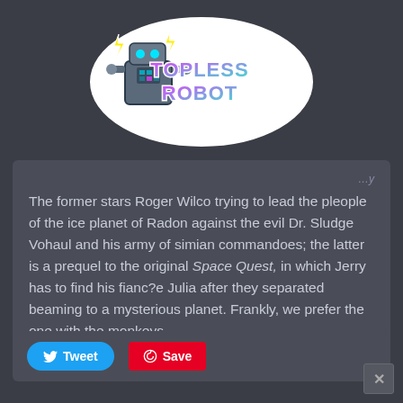[Figure (logo): Topless Robot logo — cartoon robot character with lightning bolts and stylized pink/blue neon text reading 'TOPLESS ROBOT' on a white sticker-style background]
The former stars Roger Wilco trying to lead the pleople of the ice planet of Radon against the evil Dr. Sludge Vohaul and his army of simian commandoes; the latter is a prequel to the original Space Quest, in which Jerry has to find his fianc?e Julia after they separated beaming to a mysterious planet. Frankly, we prefer the one with the monkeys.
Tweet  Save